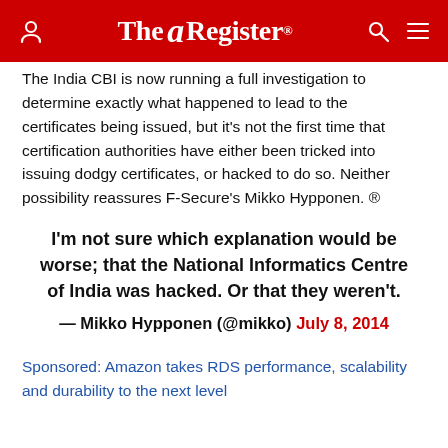The Register
The India CBI is now running a full investigation to determine exactly what happened to lead to the certificates being issued, but it's not the first time that certification authorities have either been tricked into issuing dodgy certificates, or hacked to do so. Neither possibility reassures F-Secure's Mikko Hypponen. ®
I'm not sure which explanation would be worse; that the National Informatics Centre of India was hacked. Or that they weren't.
— Mikko Hypponen (@mikko) July 8, 2014
Sponsored: Amazon takes RDS performance, scalability and durability to the next level